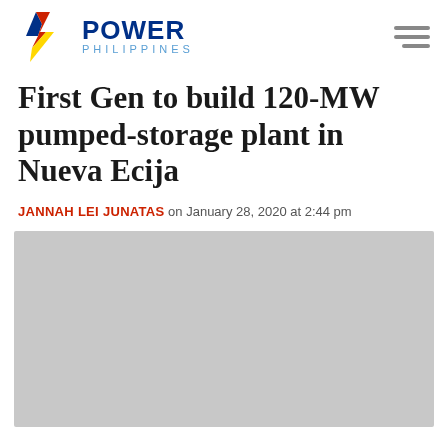[Figure (logo): Power Philippines logo with lightning bolt icon and text 'POWER PHILIPPINES']
First Gen to build 120-MW pumped-storage plant in Nueva Ecija
JANNAH LEI JUNATAS on January 28, 2020 at 2:44 pm
[Figure (photo): Gray placeholder image representing an article photo]